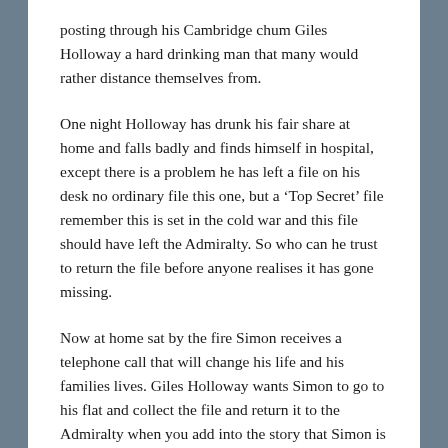posting through his Cambridge chum Giles Holloway a hard drinking man that many would rather distance themselves from.
One night Holloway has drunk his fair share at home and falls badly and finds himself in hospital, except there is a problem he has left a file on his desk no ordinary file this one, but a ‘Top Secret’ file remember this is set in the cold war and this file should have left the Admiralty. So who can he trust to return the file before anyone realises it has gone missing.
Now at home sat by the fire Simon receives a telephone call that will change his life and his families lives. Giles Holloway wants Simon to go to his flat and collect the file and return it to the Admiralty when you add into the story that Simon is hiding a secret from his wife that dates back to his days at Cambridge. There is ‘blackmail’ in the air as Simon becomes the fall guy.